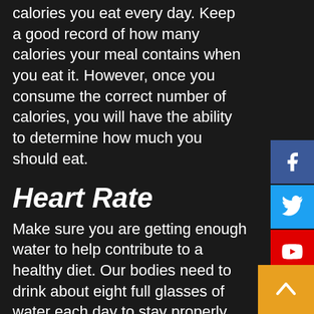calories you eat every day. Keep a good record of how many calories your meal contains when you eat it. However, once you consume the correct number of calories, you will have the ability to determine how much you should eat.
Heart Rate
Make sure you are getting enough water to help contribute to a healthy diet. Our bodies need to drink about eight full glasses of water each day to stay properly hydrated. If the weather is hot, drink more. Drinking a bunch of water can keep the digestive system going and you will feel more full.
If your goal is to lose fat, your workout must include mainly cardiovascular exercises. Cardiovascular exercises increase heart rate, and burn fat more